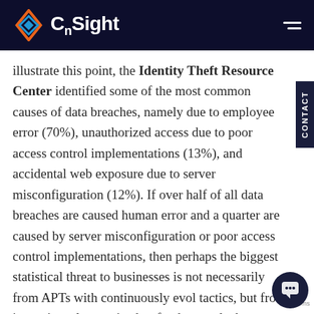CnSight
illustrate this point, the Identity Theft Resource Center identified some of the most common causes of data breaches, namely due to employee error (70%), unauthorized access due to poor access control implementations (13%), and accidental web exposure due to server misconfiguration (12%). If over half of all data breaches are caused human error and a quarter are caused by server misconfiguration or poor access control implementations, then perhaps the biggest statistical threat to businesses is not necessarily from APTs with continuously evolving tactics, but from inconsistently practiced security fundamentals that undermine the strength of...